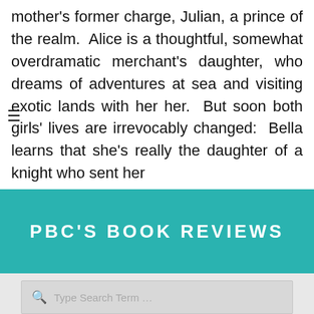mother’s former charge, Julian, a prince of the realm. Alice is a thoughtful, somewhat overdramatic merchant’s daughter, who dreams of adventures at sea and visiting exotic lands with her her. But soon both girls’ lives are irrevocably changed: Bella learns that she’s really the daughter of a knight who sent her
PBC'S BOOK REVIEWS
Type Search Term …
RECENT POSTS